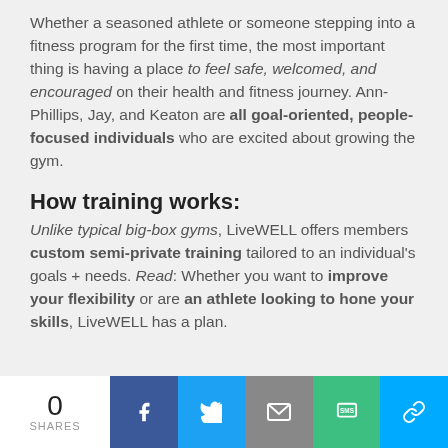Whether a seasoned athlete or someone stepping into a fitness program for the first time, the most important thing is having a place to feel safe, welcomed, and encouraged on their health and fitness journey. Ann-Phillips, Jay, and Keaton are all goal-oriented, people-focused individuals who are excited about growing the gym.
How training works:
Unlike typical big-box gyms, LiveWELL offers members custom semi-private training tailored to an individual's goals + needs. Read: Whether you want to improve your flexibility or are an athlete looking to hone your skills, LiveWELL has a plan.
0 SHARES | Facebook | Twitter | Email | SMS | Link